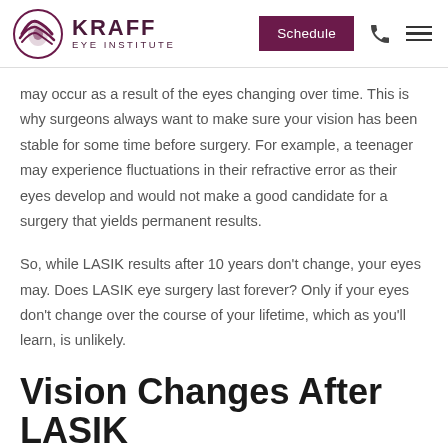Kraff Eye Institute — Schedule
may occur as a result of the eyes changing over time. This is why surgeons always want to make sure your vision has been stable for some time before surgery. For example, a teenager may experience fluctuations in their refractive error as their eyes develop and would not make a good candidate for a surgery that yields permanent results.
So, while LASIK results after 10 years don't change, your eyes may. Does LASIK eye surgery last forever? Only if your eyes don't change over the course of your lifetime, which as you'll learn, is unlikely.
Vision Changes After LASIK